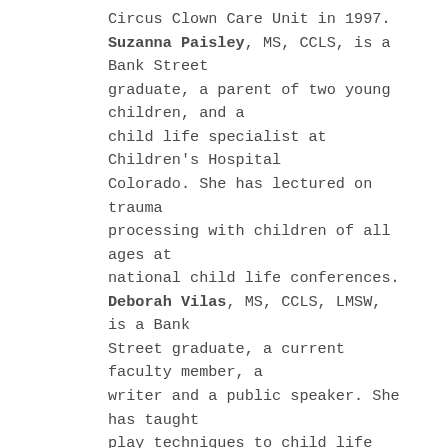Circus Clown Care Unit in 1997. Suzanna Paisley, MS, CCLS, is a Bank Street graduate, a parent of two young children, and a child life specialist at Children's Hospital Colorado. She has lectured on trauma processing with children of all ages at national child life conferences. Deborah Vilas, MS, CCLS, LMSW, is a Bank Street graduate, a current faculty member, a writer and a public speaker. She has taught play techniques to child life students, hospital play specialists, nursing students, social workers and psychologists in 6 countries around the world. Patty Weiner, MS, is a mother and grandmother whose career spans over 35 years as a child life specialist and educator. She is